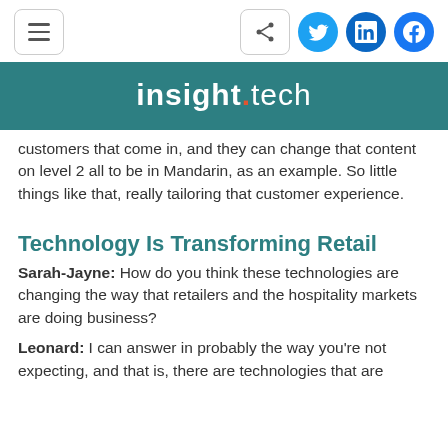insight.tech
customers that come in, and they can change that content on level 2 all to be in Mandarin, as an example. So little things like that, really tailoring that customer experience.
Technology Is Transforming Retail
Sarah-Jayne: How do you think these technologies are changing the way that retailers and the hospitality markets are doing business?
Leonard: I can answer in probably the way you're not expecting, and that is, there are technologies that are